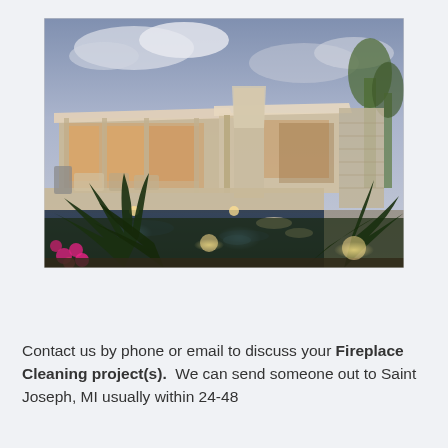[Figure (photo): Exterior view of a modern luxury home at dusk with a swimming pool in the foreground, tropical plants and flowers in the bottom left, warm interior lighting visible through large glass windows, and an overcast sky in the background.]
Contact us by phone or email to discuss your Fireplace Cleaning project(s).  We can send someone out to Saint Joseph, MI usually within 24-48